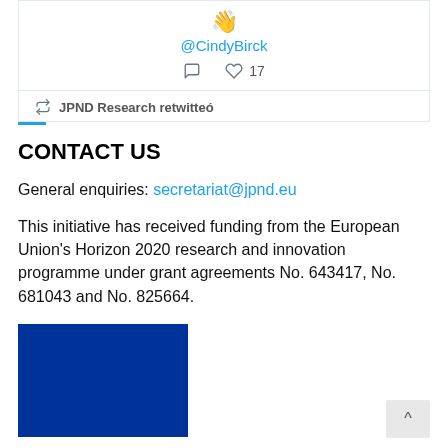[Figure (screenshot): Twitter card showing @CindyBirck handle with clapping emoji, comment and like (17) icons, and 'JPND Research retwitteó' retweet label with blue underline]
CONTACT US
General enquiries: secretariat@jpnd.eu
This initiative has received funding from the European Union's Horizon 2020 research and innovation programme under grant agreements No. 643417, No. 681043 and No. 825664.
[Figure (illustration): European Union flag: blue background with circle of 12 yellow stars]